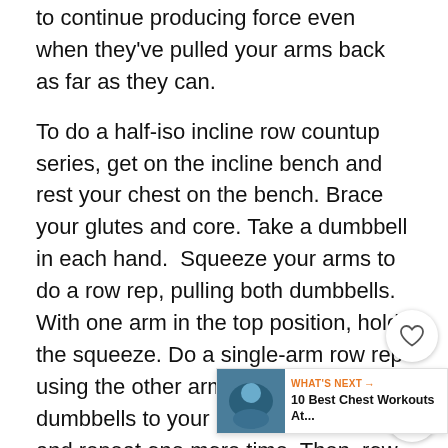to continue producing force even when they've pulled your arms back as far as they can.
To do a half-iso incline row countup series, get on the incline bench and rest your chest on the bench. Brace your glutes and core. Take a dumbbell in each hand.  Squeeze your arms to do a row rep, pulling both dumbbells. With one arm in the top position, hold the squeeze. Do a single-arm row rep using the other arm. Lower both dumbbells to your starting position and repeat one more time. Then, row up with both arms and hold the row squeeze with one arm while performing 2-row reps with the other. To even out the sets, do 2-reps on the other side